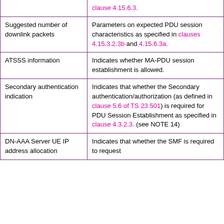|  | clause 4.15.6.3. |
| Suggested number of downlink packets | Parameters on expected PDU session characteristics as specified in clauses 4.15.3.2.3b and 4.15.6.3a. |
| ATSSS information | Indicates whether MA-PDU session establishment is allowed. |
| Secondary authentication indication | Indicates that whether the Secondary authentication/authorization (as defined in clause 5.6 of TS 23.501) is required for PDU Session Establishment as specified in clause 4.3.2.3. (see NOTE 14) |
| DN-AAA Server UE IP address allocation | Indicates that whether the SMF is required to request |